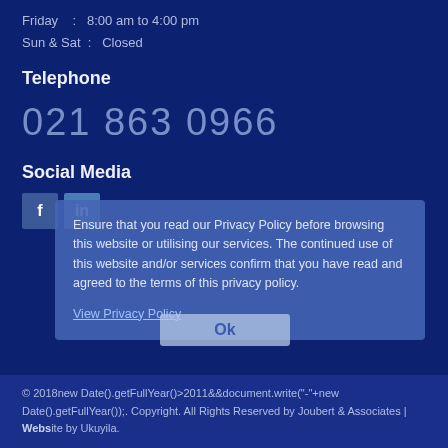Friday : 8:00 am to 4:00 pm
Sun & Sat : Closed
Telephone
021 863 0966
Social Media
[Figure (other): Facebook and LinkedIn social media icons]
Ensure that you read our Privacy Policy before browsing this website or utilising our services. The continued use of this website and/or services confirm that you have read and agreed to the terms of this privacy policy.
View Privacy Policy
Ok
© 2018new Date().getFullYear()>2011&&document.write("-"+new Date().getFullYear());. Copyright. All Rights Reserved by Joubert & Associates | Website by Ukuyila.